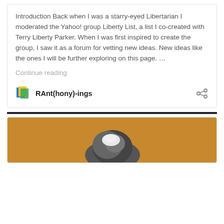Introduction Back when I was a starry-eyed Libertarian I moderated the Yahoo! group Liberty List, a list I co-created with Terry Liberty Parker. When I was first inspired to create the group, I saw it as a forum for vetting new ideas. New ideas like the ones I will be further exploring on this page. …
Continue reading
RAnt(hony)-ings
[Figure (photo): A photo showing a rock or stone object on a sandy/grainy brownish-orange surface, partially cropped at the bottom of the page.]